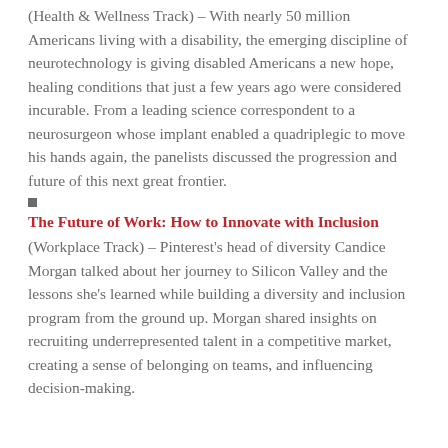(Health & Wellness Track) – With nearly 50 million Americans living with a disability, the emerging discipline of neurotechnology is giving disabled Americans a new hope, healing conditions that just a few years ago were considered incurable. From a leading science correspondent to a neurosurgeon whose implant enabled a quadriplegic to move his hands again, the panelists discussed the progression and future of this next great frontier.
The Future of Work: How to Innovate with Inclusion
(Workplace Track) – Pinterest's head of diversity Candice Morgan talked about her journey to Silicon Valley and the lessons she's learned while building a diversity and inclusion program from the ground up. Morgan shared insights on recruiting underrepresented talent in a competitive market, creating a sense of belonging on teams, and influencing decision-making.